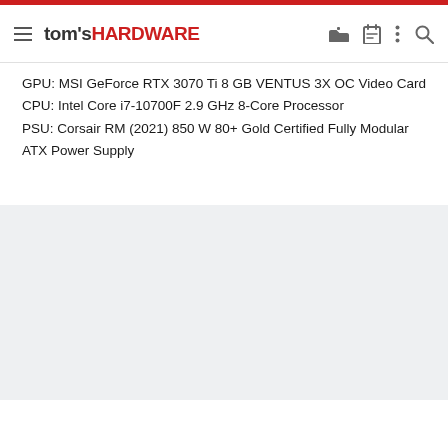tom's HARDWARE
GPU: MSI GeForce RTX 3070 Ti 8 GB VENTUS 3X OC Video Card
CPU: Intel Core i7-10700F 2.9 GHz 8-Core Processor
PSU: Corsair RM (2021) 850 W 80+ Gold Certified Fully Modular ATX Power Supply